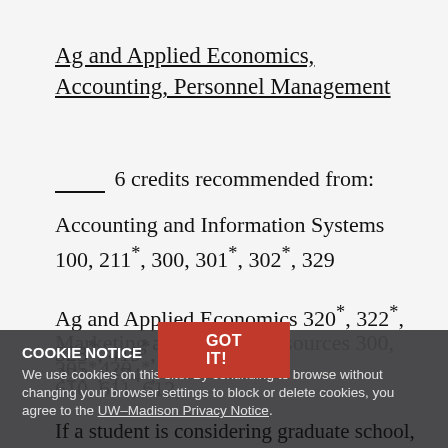Ag and Applied Economics, Accounting, Personnel Management
_____ 6 credits recommended from:
Accounting and Information Systems 100, 211*, 300, 301*, 302*, 329
Ag and Applied Economics 320*, 322*, 323*, 419*, 421*, 474*,
Marketing and Human Resources 300, 305, 420, 610, 611, 612,
COOKIE NOTICE
We use cookies on this site. By continuing to browse without changing your browser settings to block or delete cookies, you agree to the UW–Madison Privacy Notice.
If a student is considering graduate school, the following courses beyond degree requirements are strongly recommended: